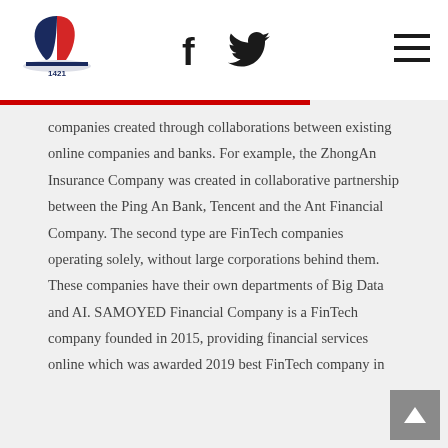[Figure (logo): Stylized logo with number 1421 and sailboat/wave design]
[Figure (infographic): Facebook and Twitter social media icons in header]
[Figure (infographic): Hamburger menu icon (three horizontal lines) in header]
companies created through collaborations between existing online companies and banks. For example, the ZhongAn Insurance Company was created in collaborative partnership between the Ping An Bank, Tencent and the Ant Financial Company. The second type are FinTech companies operating solely, without large corporations behind them. These companies have their own departments of Big Data and AI. SAMOYED Financial Company is a FinTech company founded in 2015, providing financial services online which was awarded 2019 best FinTech company in